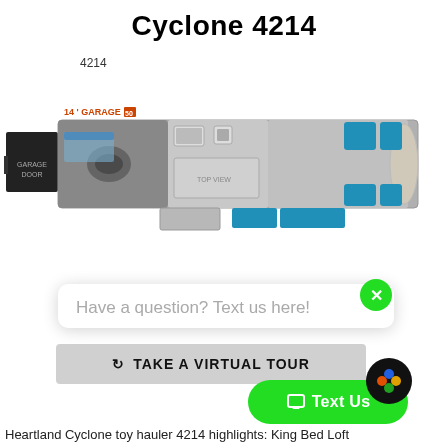Cyclone 4214
4214
[Figure (schematic): Floor plan schematic of the Heartland Cyclone 4214 RV toy hauler, showing a top-down view with 14' garage area labeled in orange/red, garage door on left, bedroom/living area in center, and blue seating/furniture on the right side.]
Have a question? Text us here!
TAKE A VIRTUAL TOUR
Heartland Cyclone toy hauler 4214 highlights: King Bed Loft